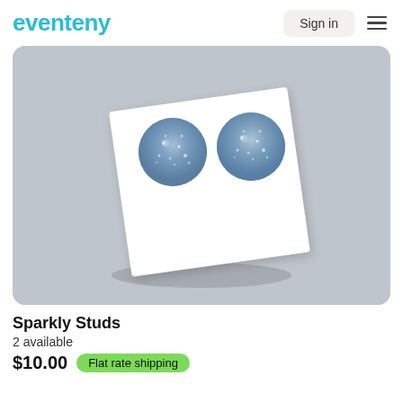eventeny
[Figure (photo): A pair of sparkly blue/silver glitter round stud earrings displayed on a white square earring card holder, set against a grey background.]
Sparkly Studs
2 available
$10.00  Flat rate shipping